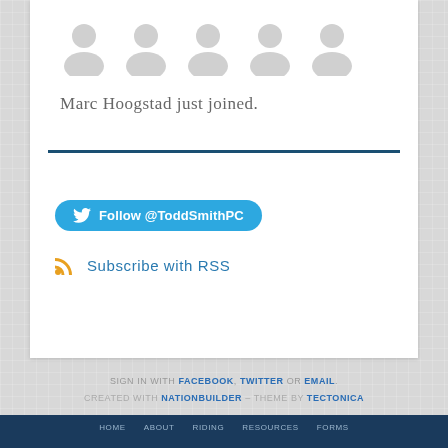[Figure (illustration): Five grey placeholder person/avatar silhouette icons in a row on a white card background]
Marc Hoogstad just joined.
Follow @ToddSmithPC
Subscribe with RSS
SIGN IN WITH FACEBOOK, TWITTER OR EMAIL. CREATED WITH NATIONBUILDER – THEME BY TECTONICA
HOME  ABOUT  RIDING  RESOURCES  FORMS